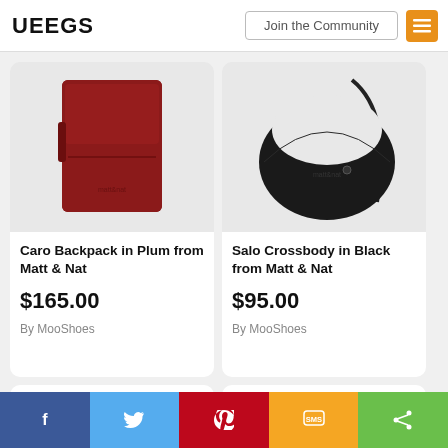VEEGS | Join the Community
[Figure (photo): Caro Backpack in Plum from Matt & Nat — dark red/plum rectangular clutch/backpack on white background]
Caro Backpack in Plum from Matt & Nat
$165.00
By MooShoes
[Figure (photo): Salo Crossbody in Black from Matt & Nat — black crescent-shaped crossbody bag on white background]
Salo Crossbody in Black from Matt & Nat
$95.00
By MooShoes
Facebook | Twitter | Pinterest | SMS | Share